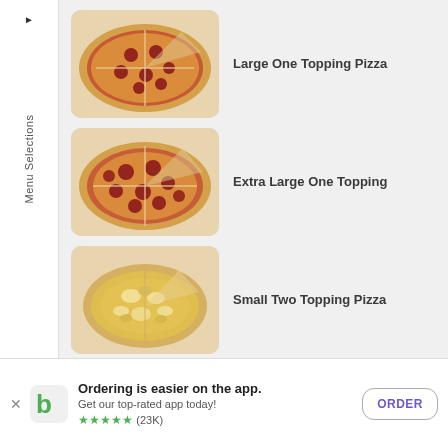Menu Selections
[Figure (photo): Pepperoni pizza sliced, viewed from above on parchment paper]
Large One Topping Pizza
[Figure (photo): Extra large pepperoni pizza sliced, viewed from above on parchment paper]
Extra Large One Topping
[Figure (photo): Pizza with yellow/white toppings (cheese, chicken) sliced, viewed from above]
Small Two Topping Pizza
Ordering is easier on the app. Get our top-rated app today! ★★★★★ (23K)